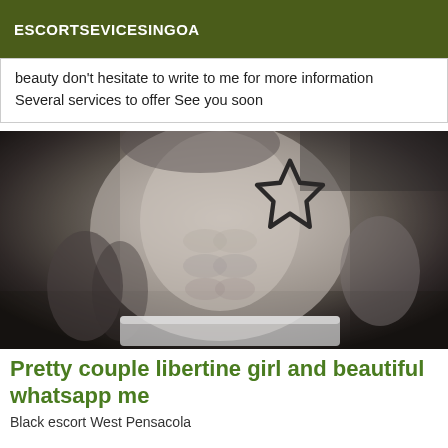ESCORTSEVICESINGOA
beauty don't hesitate to write to me for more information Several services to offer See you soon
[Figure (photo): Black and white photograph of a muscular male torso with tattoos including a star tattoo on the chest, wearing white underwear, lying down]
Pretty couple libertine girl and beautiful whatsapp me
Black escort West Pensacola